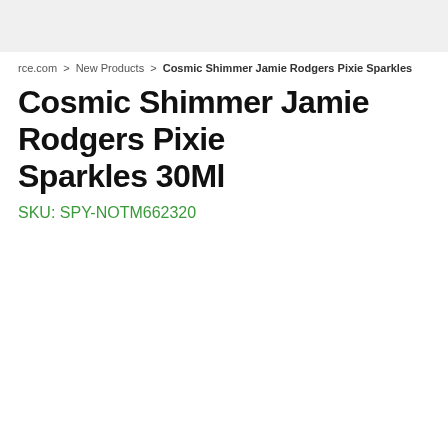rce.com > New Products > Cosmic Shimmer Jamie Rodgers Pixie Sparkles
Cosmic Shimmer Jamie Rodgers Pixie Sparkles 30Ml
SKU: SPY-NOTM662320